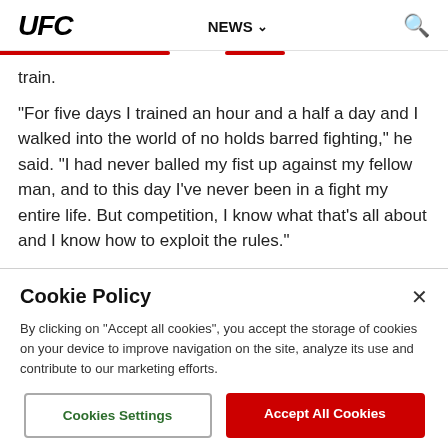UFC  NEWS  [search]
train.
"For five days I trained an hour and a half a day and I walked into the world of no holds barred fighting," he said. "I had never balled my fist up against my fellow man, and to this day I've never been in a fight my entire life. But competition, I know what that's all about and I know how to exploit the rules."
Cookie Policy
By clicking on "Accept all cookies", you accept the storage of cookies on your device to improve navigation on the site, analyze its use and contribute to our marketing efforts.
Cookies Settings  Accept All Cookies